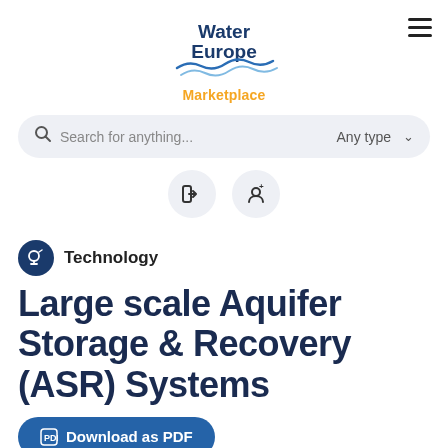Water Europe Marketplace
Search for anything... Any type
Technology
Large scale Aquifer Storage & Recovery (ASR) Systems
Download as PDF